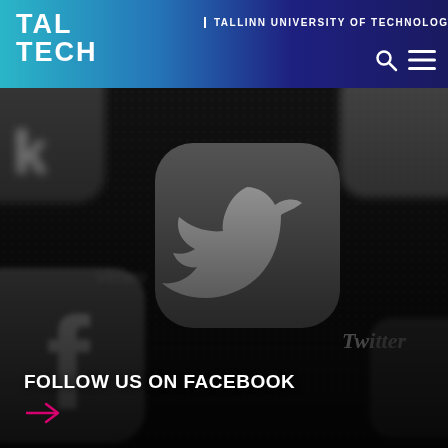TAL TECH | TALLINN UNIVERSITY OF TECHNOLOGY
[Figure (photo): Close-up grayscale photo of smartphone screen showing social media app icons including Facebook and Twitter apps]
FOLLOW US ON FACEBOOK